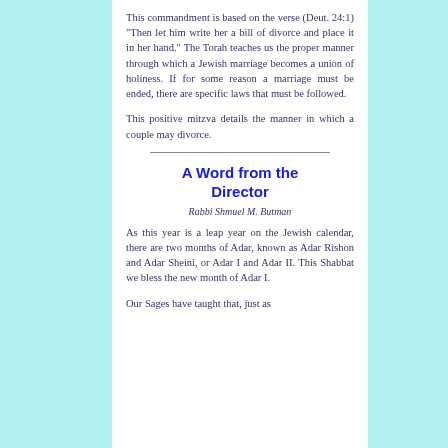This commandment is based on the verse (Deut. 24:1) "Then let him write her a bill of divorce and place it in her hand." The Torah teaches us the proper manner through which a Jewish marriage becomes a union of holiness. If for some reason a marriage must be ended, there are specific laws that must be followed.
This positive mitzva details the manner in which a couple may divorce.
A Word from the Director
Rabbi Shmuel M. Butman
As this year is a leap year on the Jewish calendar, there are two months of Adar, known as Adar Rishon and Adar Sheini, or Adar I and Adar II. This Shabbat we bless the new month of Adar I.
Our Sages have taught that, just as